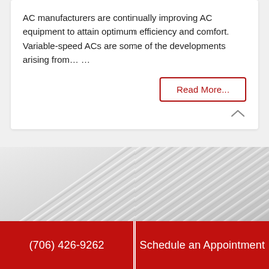AC manufacturers are continually improving AC equipment to attain optimum efficiency and comfort. Variable-speed ACs are some of the developments arising from… …
Read More...
[Figure (photo): Close-up photo of a white AC vent/grille with horizontal louvres]
(706) 426-9262
Schedule an Appointment